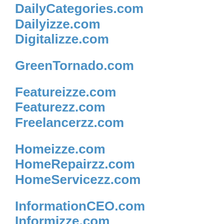DailyCategories.com
Dailyizze.com
Digitalizze.com
GreenTornado.com
Featureizze.com
Featurezz.com
Freelancerzz.com
Homeizze.com
HomeRepairzz.com
HomeServicezz.com
InformationCEO.com
Informizze.com
Legalzz.com
Lifeizzo.com